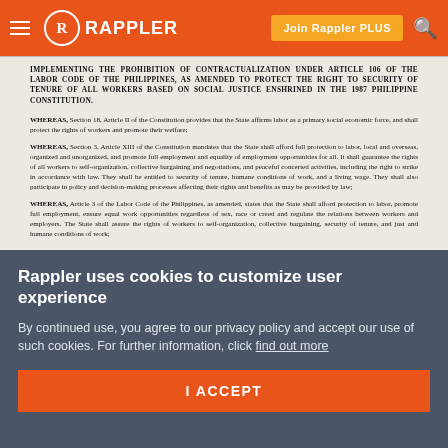Rappler — Join Rappler PLUS
IMPLEMENTING THE PROHIBITION OF CONTRACTUALIZATION UNDER ARTICLE 106 OF THE LABOR CODE OF THE PHILIPPINES, AS AMENDED TO PROTECT THE RIGHT TO SECURITY OF TENURE OF ALL WORKERS BASED ON SOCIAL JUSTICE ENSHRINED IN THE 1987 PHILIPPINE CONSTITUTION.
WHEREAS, Section 18, Article II of the Constitution provides that the State affirms labor as a primary social economic force, and shall protect the rights of workers and promote their welfare;
WHEREAS, Section 3, Article XIII of the Constitution mandates that the State shall afford full protection to labor, local and overseas, organized and unorganized, and promote full employment and equality of employment opportunities for all. It shall guarantee the rights of all workers to self-organization, collective bargaining and negotiations, and peaceful concerted activities, including the right to strike in accordance with law. They shall be entitled to security of tenure, humane conditions of work, and a living wage. They shall also participate in policy and decision-making processes affecting their rights and benefits as may be provided by law;
WHEREAS, Article 3 of the Labor Code of the Philippines, as amended, states that the State shall afford protection to labor, promote full employment, ensure equal work opportunities regardless of sex, race or creed and regulate the relations between workers and employers. The State shall assure the rights of workers to self-organization, collective bargaining, security of tenure, and just and humane conditions of work;
Rappler uses cookies to customize user experience
By continued use, you agree to our privacy policy and accept our use of such cookies. For further information, click find out more
I ACCEPT